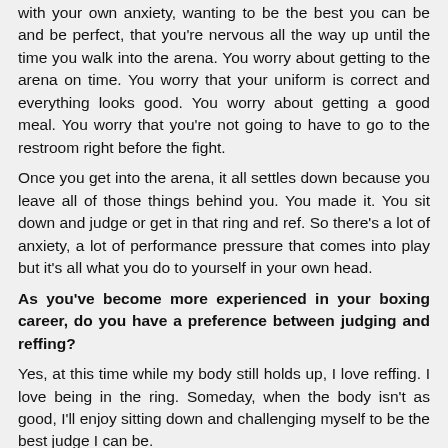with your own anxiety, wanting to be the best you can be and be perfect, that you're nervous all the way up until the time you walk into the arena. You worry about getting to the arena on time. You worry that your uniform is correct and everything looks good. You worry about getting a good meal. You worry that you're not going to have to go to the restroom right before the fight.
Once you get into the arena, it all settles down because you leave all of those things behind you. You made it. You sit down and judge or get in that ring and ref. So there's a lot of anxiety, a lot of performance pressure that comes into play but it's all what you do to yourself in your own head.
As you've become more experienced in your boxing career, do you have a preference between judging and reffing?
Yes, at this time while my body still holds up, I love reffing. I love being in the ring. Someday, when the body isn't as good, I'll enjoy sitting down and challenging myself to be the best judge I can be.